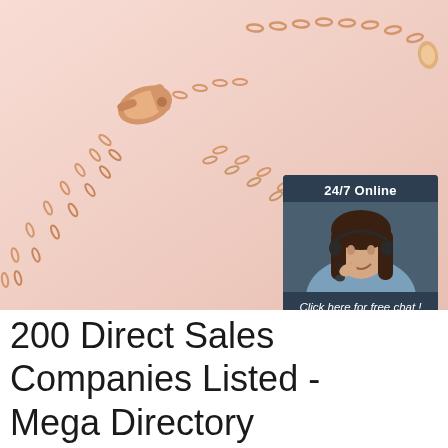[Figure (photo): Rose gold jewelry chain with lobster clasp on pink background, with a 24/7 Online chat widget overlay showing a female customer service representative wearing a headset, with 'Click here for free chat!' text and an orange QUOTATION button]
200 Direct Sales Companies Listed - Mega Directory